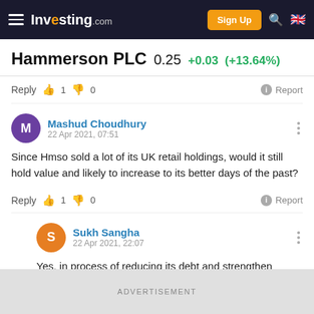Investing.com — Sign Up
Hammerson PLC 0.25 +0.03 (+13.64%)
Reply 👍 1 👎 0   Report
Mashud Choudhury
22 Apr 2021, 07:51
Since Hmso sold a lot of its UK retail holdings, would it still hold value and likely to increase to its better days of the past?
Reply 👍 1 👎 0   Report
Sukh Sangha
22 Apr 2021, 22:07
Yes, in process of reducing its debt and strengthen balance sheet. Long-term play!
ADVERTISEMENT